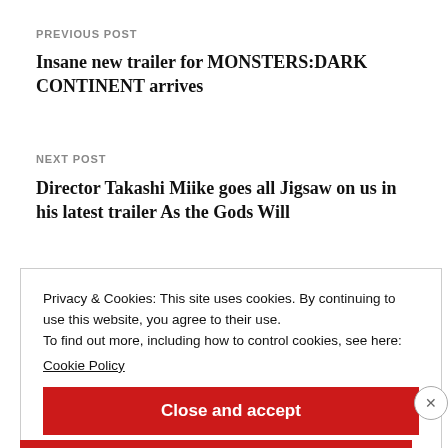PREVIOUS POST
Insane new trailer for MONSTERS:DARK CONTINENT arrives
NEXT POST
Director Takashi Miike goes all Jigsaw on us in his latest trailer As the Gods Will
Privacy & Cookies: This site uses cookies. By continuing to use this website, you agree to their use.
To find out more, including how to control cookies, see here:
Cookie Policy
Close and accept